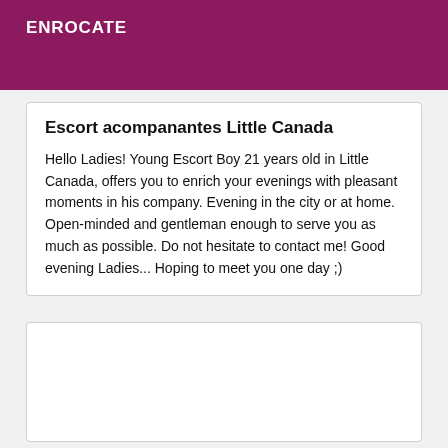ENROCATE
Escort acompanantes Little Canada
Hello Ladies! Young Escort Boy 21 years old in Little Canada, offers you to enrich your evenings with pleasant moments in his company. Evening in the city or at home. Open-minded and gentleman enough to serve you as much as possible. Do not hesitate to contact me! Good evening Ladies... Hoping to meet you one day ;)